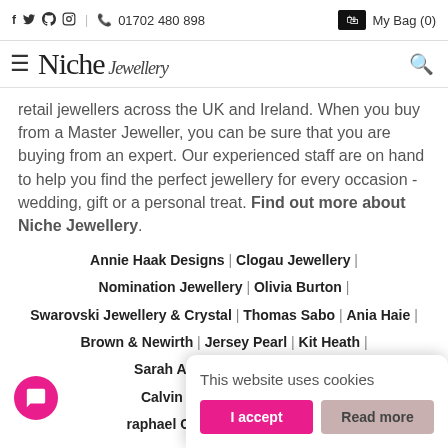f  🐦  pinterest  instagram  |  📞  01702 480 898  |  My Bag (0)
Niche Jewellery
retail jewellers across the UK and Ireland. When you buy from a Master Jeweller, you can be sure that you are buying from an expert. Our experienced staff are on hand to help you find the perfect jewellery for every occasion - wedding, gift or a personal treat. Find out more about Niche Jewellery.
Annie Haak Designs | Clogau Jewellery |
Nomination Jewellery | Olivia Burton |
Swarovski Jewellery & Crystal | Thomas Sabo | Ania Haie |
Brown & Newirth | Jersey Pearl | Kit Heath |
Sarah Alexander | Shyla Lo...
Calvin Klein | Coeur De L...
...raphael Collection | Sif Jakob...
This website uses cookies
I accept  Read more